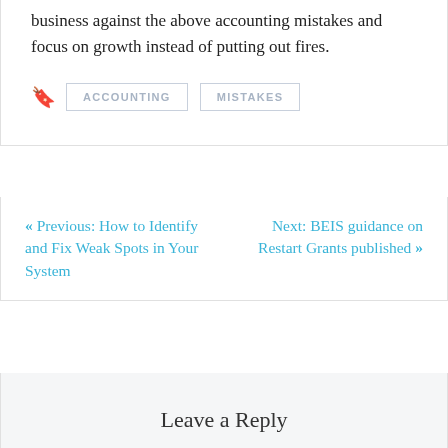business against the above accounting mistakes and focus on growth instead of putting out fires.
ACCOUNTING   MISTAKES
« Previous: How to Identify and Fix Weak Spots in Your System
Next: BEIS guidance on Restart Grants published »
Leave a Reply